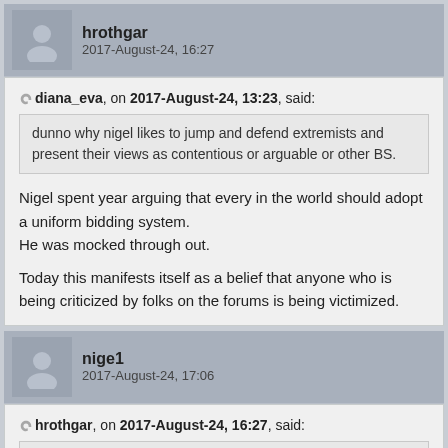hrothgar
2017-August-24, 16:27
diana_eva, on 2017-August-24, 13:23, said:
dunno why nigel likes to jump and defend extremists and present their views as contentious or arguable or other BS.
Nigel spent year arguing that every in the world should adopt a uniform bidding system.
He was mocked through out.

Today this manifests itself as a belief that anyone who is being criticized by folks on the forums is being victimized.
nige1
2017-August-24, 17:06
hrothgar, on 2017-August-24, 16:27, said:
Nigel spent year arguing that every in the world should adopt a uniform...